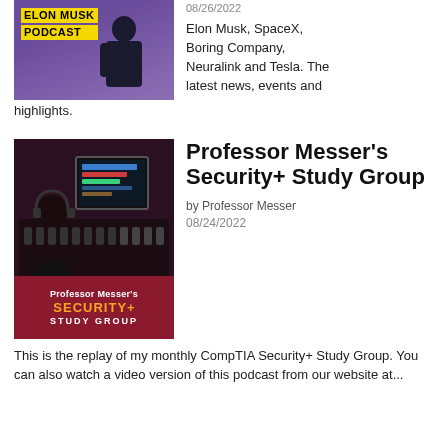[Figure (photo): Elon Musk Podcast cover image with yellow text on purple/violet background with man in dark jacket silhouette]
08/26/2022
Elon Musk, SpaceX, Boring Company, Neuralink and Tesla. The latest news, events and highlights.
[Figure (photo): Professor Messer's Security+ Study Group podcast cover image showing a person at a studio mixing console with monitors, crimson banner with the show name]
Professor Messer's Security+ Study Group
by Professor Messer
08/24/2022
This is the replay of my monthly CompTIA Security+ Study Group. You can also watch a video version of this podcast from our website at...